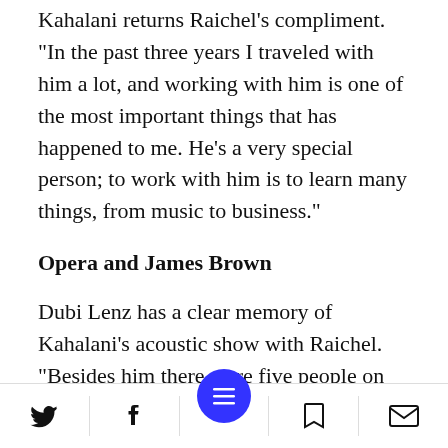Kahalani returns Raichel's compliment. "In the past three years I traveled with him a lot, and working with him is one of the most important things that has happened to me. He's a very special person; to work with him is to learn many things, from music to business."
Opera and James Brown
Dubi Lenz has a clear memory of Kahalani's acoustic show with Raichel. "Besides him there were five people on stage and the moment he came on I forgot all about the
[Figure (other): Mobile app bottom navigation bar with Twitter, Facebook, menu (blue circle FAB), bookmark, and mail icons]